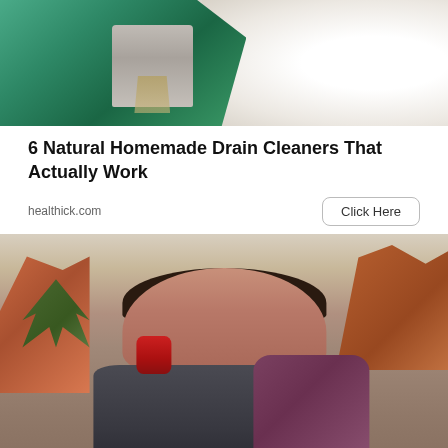[Figure (photo): Person wearing green rubber gloves pouring liquid cleaner from a bottle into a white sink/bathtub drain]
6 Natural Homemade Drain Cleaners That Actually Work
healthick.com
Click Here
[Figure (photo): Woman using an inhaler while hiking in a desert canyon landscape, wearing a backpack]